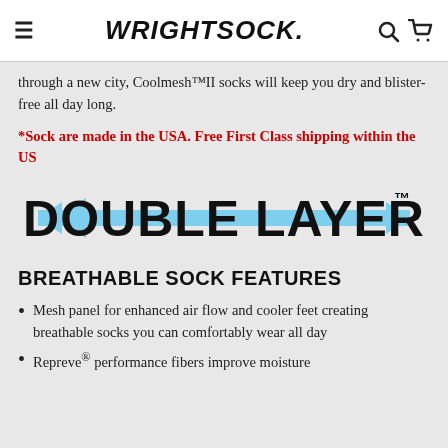≡  WRIGHTSOCK.  🔍 🛒
through a new city, Coolmesh™II socks will keep you dry and blister-free all day long.
*Sock are made in the USA. Free First Class shipping within the US
[Figure (logo): Double Layer trademark logo with blue arrows pointing left and right on either side of large bold black text reading DOUBLE LAYER with TM superscript]
BREATHABLE SOCK FEATURES
Mesh panel for enhanced air flow and cooler feet creating breathable socks you can comfortably wear all day
Repreve® performance fibers improve moisture